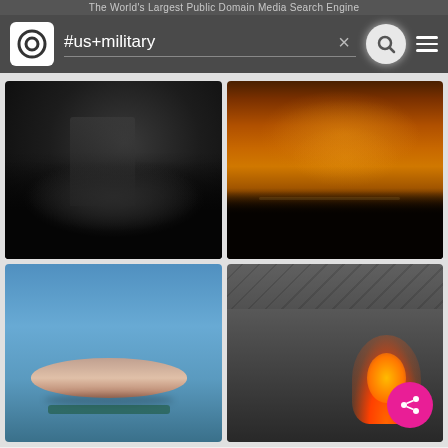The World's Largest Public Domain Media Search Engine
#us+military
[Figure (screenshot): Screenshot of Pixabay public domain media search engine showing search results for #us+military. Four thumbnail images are displayed in a 2x2 grid: top-left shows a dark nighttime silhouette scene, top-right shows an orange/amber night sky, bottom-left shows a blue sky with a blimp/airship, bottom-right shows grayscale building rubble with fire and a pink share button overlay.]